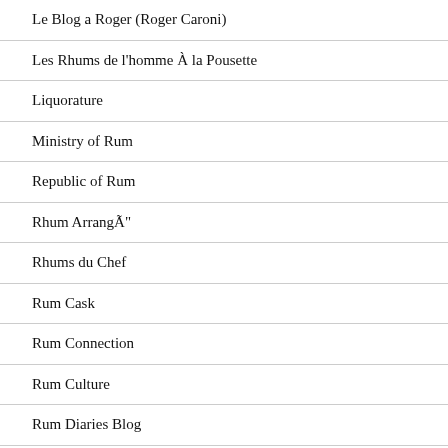Le Blog a Roger (Roger Caroni)
Les Rhums de l'homme À la Pousette
Liquorature
Ministry of Rum
Republic of Rum
Rhum ArrangÃ¨
Rhums du Chef
Rum Cask
Rum Connection
Rum Culture
Rum Diaries Blog